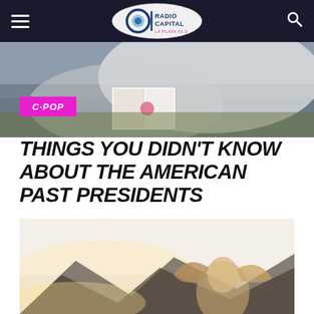Radio Capital La Plata 91.3 — navigation bar with hamburger menu and search icon
[Figure (photo): Hero image at top showing a person reading a magazine/book, partially covered by white fabric, with a pink background; C-POP badge overlaid in bottom-left]
THINGS YOU DIDN'T KNOW ABOUT THE AMERICAN PAST PRESIDENTS
[Figure (photo): Hero image at bottom showing a woman with flowing hair outdoors with mountains in the background, bright backlit scene]